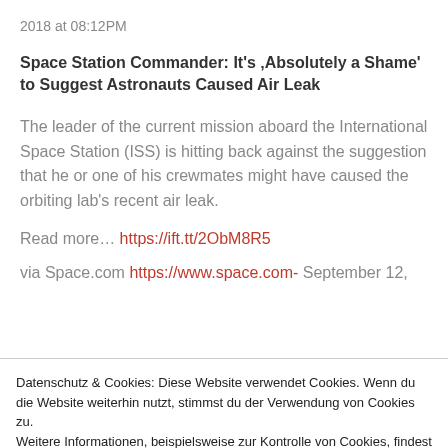2018 at 08:12PM
Space Station Commander: It's “Absolutely a Shame’ to Suggest Astronauts Caused Air Leak
The leader of the current mission aboard the International Space Station (ISS) is hitting back against the suggestion that he or one of his crewmates might have caused the orbiting lab’s recent air leak.
Read more… https://ift.tt/2ObM8R5
via Space.com https://www.space.com- September 12,
Datenschutz & Cookies: Diese Website verwendet Cookies. Wenn du die Website weiterhin nutzt, stimmst du der Verwendung von Cookies zu.
Weitere Informationen, beispielsweise zur Kontrolle von Cookies, findest du hier: Cookie-Richtlinie
Schließen und Akzeptieren
Bonnte es ein gestresster Astronaut? Den